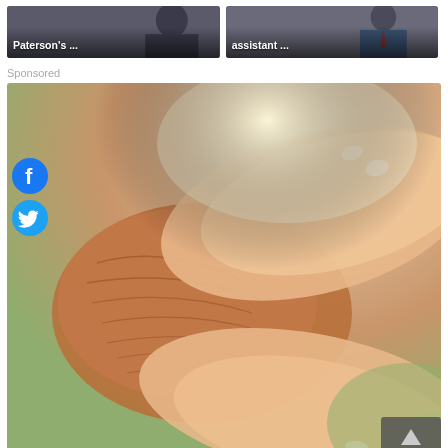[Figure (photo): Two thumbnail news images side by side: left shows text 'Paterson's ...' over a photo, right shows text 'assistant ...' over a photo of a man in a suit]
Sponsored
[Figure (photo): Close-up photo of an elderly wrinkled hand being held gently by younger hands, with green bokeh background. Social media icons (Facebook, Twitter) overlaid on the left side.]